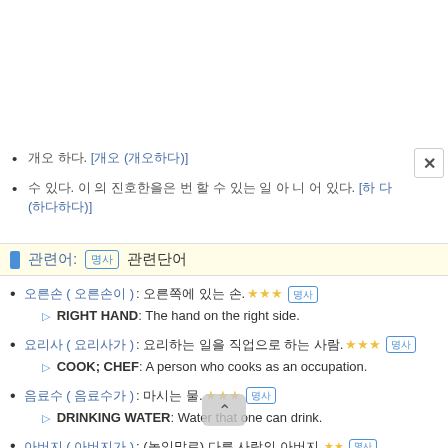[Korean text] [Korean link]
[Korean text] [Korean link]
[icon] [Korean section title]: [box] [Korean]
[Korean] ( [Korean] ) : [Korean definition]. ★★★ [box]
▷ RIGHT HAND: The hand on the right side.
[Korean] ( [Korean] ) : [Korean definition]. ★★★ [box]
▷ COOK; CHEF: A person who cooks as an occupation.
[Korean] ( [Korean] ) : [Korean definition]. ★★★ [box]
▷ DRINKING WATER: Water that one can drink.
[Korean] ( [Korean] ) : ([Korean]) [Korean definition]. ★★ [box]
▷ YOUR FATHER: (polite ...) Another person's father.